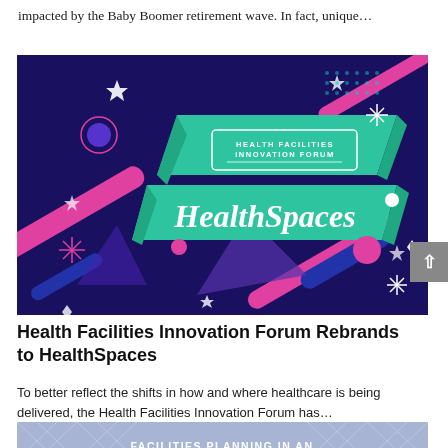impacted by the Baby Boomer retirement wave. In fact, unique…
[Figure (illustration): HealthSpaces / Health Facilities Innovation Forum branded graphic with colorful geometric shapes, ribbons, and sparkles on a dark blue/purple background]
Health Facilities Innovation Forum Rebrands to HealthSpaces
To better reflect the shifts in how and where healthcare is being delivered, the Health Facilities Innovation Forum has…
[Figure (photo): Partial view of a conference/event photo with text 'FACILITIES PLANNING IN AN' visible]